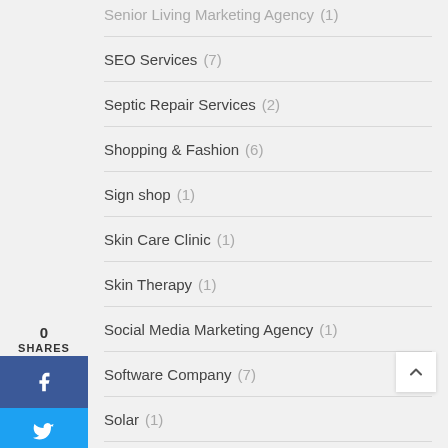Senior Living Marketing Agency (1)
SEO Services (7)
Septic Repair Services (2)
Shopping & Fashion (6)
Sign shop (1)
Skin Care Clinic (1)
Skin Therapy (1)
Social Media Marketing Agency (1)
Software Company (7)
Solar (1)